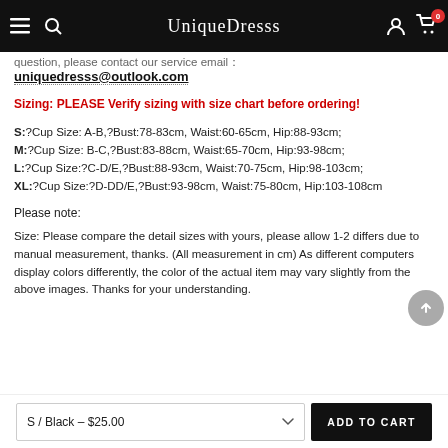UniqueDresss
question, please contact our service email：
uniquedresss@outlook.com
Sizing: PLEASE Verify sizing with size chart before ordering!
S:?Cup Size: A-B,?Bust:78-83cm, Waist:60-65cm, Hip:88-93cm;
M:?Cup Size: B-C,?Bust:83-88cm, Waist:65-70cm, Hip:93-98cm;
L:?Cup Size:?C-D/E,?Bust:88-93cm, Waist:70-75cm, Hip:98-103cm;
XL:?Cup Size:?D-DD/E,?Bust:93-98cm, Waist:75-80cm, Hip:103-108cm
Please note:
Size: Please compare the detail sizes with yours, please allow 1-2 differs due to manual measurement, thanks. (All measurement in cm) As different computers display colors differently, the color of the actual item may vary slightly from the above images. Thanks for your understanding.
S / Black - $25.00
ADD TO CART